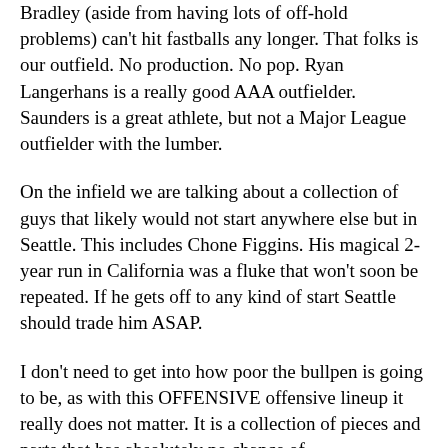Bradley (aside from having lots of off-hold problems) can't hit fastballs any longer. That folks is our outfield. No production. No pop. Ryan Langerhans is a really good AAA outfielder. Saunders is a great athlete, but not a Major League outfielder with the lumber.
On the infield we are talking about a collection of guys that likely would not start anywhere else but in Seattle. This includes Chone Figgins. His magical 2-year run in California was a fluke that won't soon be repeated. If he gets off to any kind of start Seattle should trade him ASAP.
I don't need to get into how poor the bullpen is going to be, as with this OFFENSIVE offensive lineup it really does not matter. It is a collection of pieces and parts that has absolutely no chance of